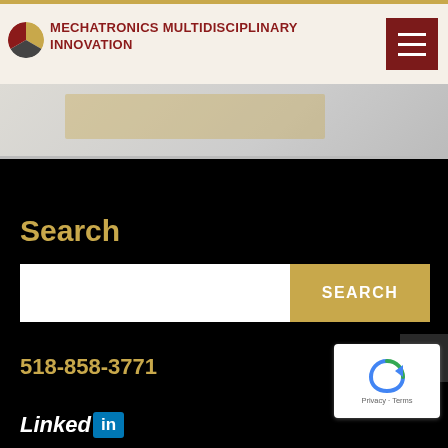MECHATRONICS MULTIDISCIPLINARY INNOVATION
[Figure (screenshot): Website header with logo circle, site title, and hamburger menu button on cream background]
[Figure (screenshot): Hero banner area with dotted/gradient gray background and semi-transparent golden overlay]
Search
[Figure (screenshot): Search bar with white text input field and gold SEARCH button]
518-858-3771
[Figure (logo): LinkedIn logo text with 'in' badge]
[Figure (screenshot): reCAPTCHA badge widget showing spinning arrows icon and Privacy - Terms text]